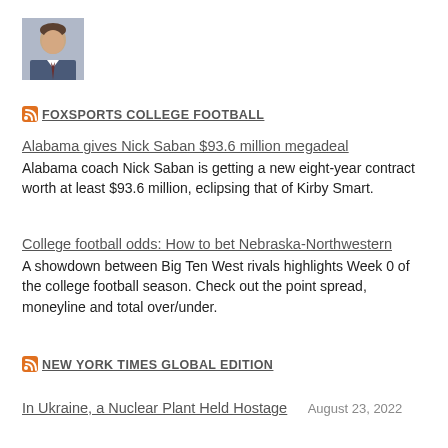[Figure (photo): Small profile photo of a man in a suit and tie]
FOXSPORTS COLLEGE FOOTBALL
Alabama gives Nick Saban $93.6 million megadeal
Alabama coach Nick Saban is getting a new eight-year contract worth at least $93.6 million, eclipsing that of Kirby Smart.
College football odds: How to bet Nebraska-Northwestern
A showdown between Big Ten West rivals highlights Week 0 of the college football season. Check out the point spread, moneyline and total over/under.
NEW YORK TIMES GLOBAL EDITION
In Ukraine, a Nuclear Plant Held Hostage    August 23, 2022